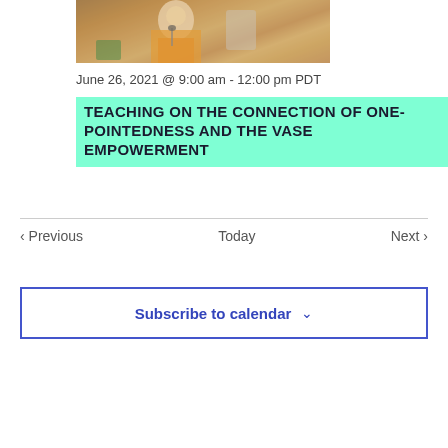[Figure (photo): Photo of a person in orange robes speaking at a microphone, with decorative items visible in the background]
June 26, 2021 @ 9:00 am - 12:00 pm PDT
TEACHING ON THE CONNECTION OF ONE-POINTEDNESS AND THE VASE EMPOWERMENT
< Previous   Today   Next >
Subscribe to calendar ∨